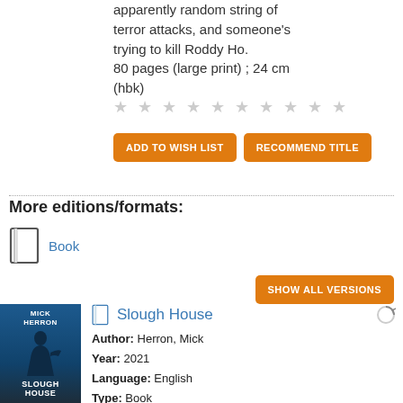apparently random string of terror attacks, and someone's trying to kill Roddy Ho.
80 pages (large print) ; 24 cm (hbk)
★ ★ ★ ★ ★ ★ ★ ★ ★ ★
ADD TO WISH LIST   RECOMMEND TITLE
More editions/formats:
Book
SHOW ALL VERSIONS
[Figure (illustration): Book cover for Slough House by Mick Herron, showing a silhouette of a person with a gun against a blue/dark background, with 'MICK HERRON' at top and 'SLOUGH HOUSE' at bottom]
Slough House
Author: Herron, Mick
Year: 2021
Language: English
Type: Book
Publisher: John Murray